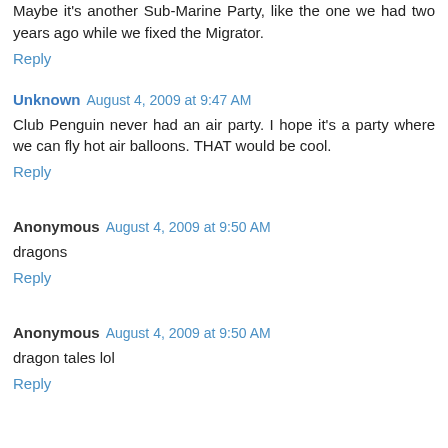Maybe it's another Sub-Marine Party, like the one we had two years ago while we fixed the Migrator.
Reply
Unknown August 4, 2009 at 9:47 AM
Club Penguin never had an air party. I hope it's a party where we can fly hot air balloons. THAT would be cool.
Reply
Anonymous August 4, 2009 at 9:50 AM
dragons
Reply
Anonymous August 4, 2009 at 9:50 AM
dragon tales lol
Reply